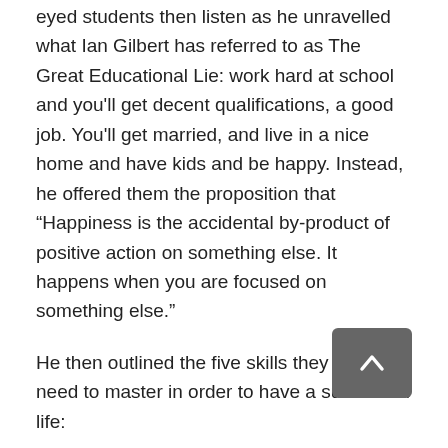eyed students then listen as he unravelled what Ian Gilbert has referred to as The Great Educational Lie: work hard at school and you'll get decent qualifications, a good job. You'll get married, and live in a nice home and have kids and be happy. Instead, he offered them the proposition that “Happiness is the accidental by-product of positive action on something else. It happens when you are focused on something else.”
He then outlined the five skills they would need to master in order to have a successful life:
1. You will need to be able to recognise your own emotions
The idea here is that we have fight or flight instincts that